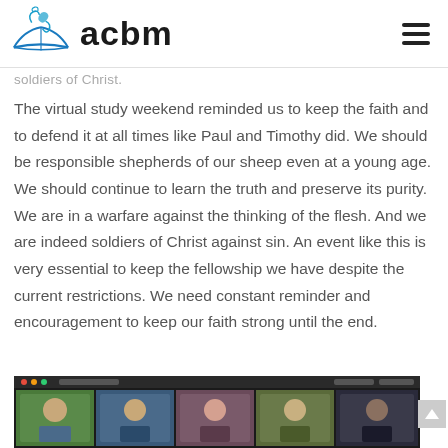acbm
soldiers of Christ.
The virtual study weekend reminded us to keep the faith and to defend it at all times like Paul and Timothy did. We should be responsible shepherds of our sheep even at a young age. We should continue to learn the truth and preserve its purity. We are in a warfare against the thinking of the flesh. And we are indeed soldiers of Christ against sin. An event like this is very essential to keep the fellowship we have despite the current restrictions. We need constant reminder and encouragement to keep our faith strong until the end.
[Figure (screenshot): Screenshot of a virtual video meeting showing multiple participants in a grid view, appearing to be a Zoom or similar video conferencing session.]